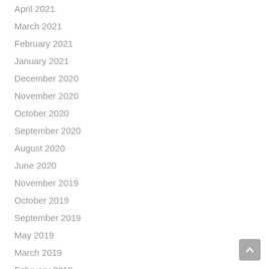April 2021
March 2021
February 2021
January 2021
December 2020
November 2020
October 2020
September 2020
August 2020
June 2020
November 2019
October 2019
September 2019
May 2019
March 2019
February 2019
December 2018